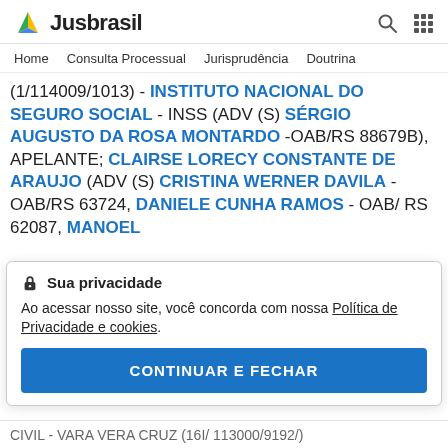Jusbrasil
Home   Consulta Processual   Jurisprudência   Doutrina
(1/114009/1013) - INSTITUTO NACIONAL DO SEGURO SOCIAL - INSS (ADV (S) SÉRGIO AUGUSTO DA ROSA MONTARDO -OAB/RS 88679B), APELANTE; CLAIRSE LORECY CONSTANTE DE ARAUJO (ADV (S) CRISTINA WERNER DAVILA - OAB/RS 63724, DANIELE CUNHA RAMOS - OAB/ RS 62087, MANOEL
Sua privacidade
Ao acessar nosso site, você concorda com nossa Política de Privacidade e cookies.
CONTINUAR E FECHAR
CIVIL - VARA VERA CRUZ (16I/ 113000/9192/)